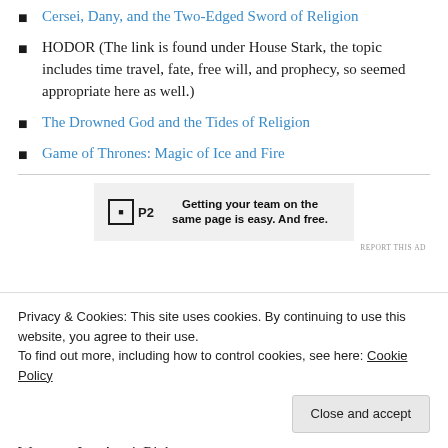Cersei, Dany, and the Two-Edged Sword of Religion
HODOR (The link is found under House Stark, the topic includes time travel, fate, free will, and prophecy, so seemed appropriate here as well.)
The Drowned God and the Tides of Religion
Game of Thrones: Magic of Ice and Fire
[Figure (screenshot): P2 advertisement: 'Getting your team on the same page is easy. And free.' with P2 logo.]
REPORT THIS AD
Privacy & Cookies: This site uses cookies. By continuing to use this website, you agree to their use.
To find out more, including how to control cookies, see here: Cookie Policy
Close and accept
Westeros Just Aren't Right